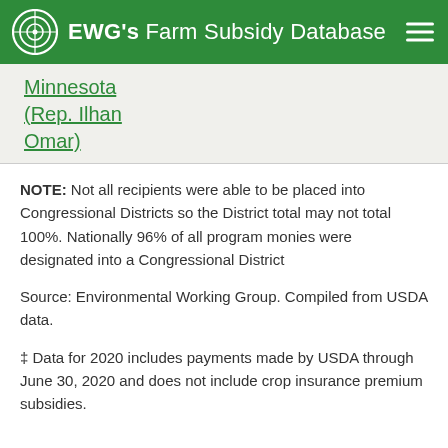EWG's Farm Subsidy Database
Minnesota (Rep. Ilhan Omar)
NOTE: Not all recipients were able to be placed into Congressional Districts so the District total may not total 100%. Nationally 96% of all program monies were designated into a Congressional District
Source: Environmental Working Group. Compiled from USDA data.
‡ Data for 2020 includes payments made by USDA through June 30, 2020 and does not include crop insurance premium subsidies.